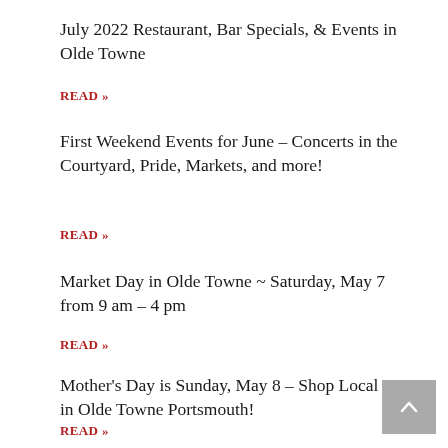July 2022 Restaurant, Bar Specials, & Events in Olde Towne
READ »
First Weekend Events for June – Concerts in the Courtyard, Pride, Markets, and more!
READ »
Market Day in Olde Towne ~ Saturday, May 7 from 9 am – 4 pm
READ »
Mother's Day is Sunday, May 8 – Shop Local in Olde Towne Portsmouth!
READ »